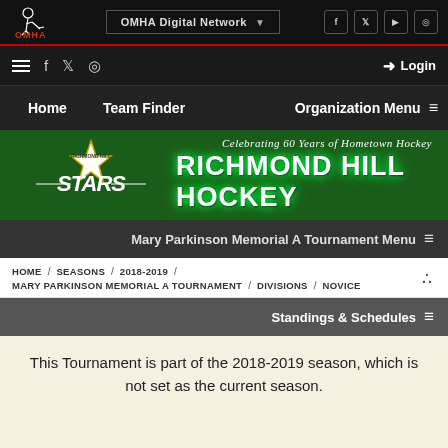[Figure (screenshot): OMHA website screenshot showing Richmond Hill Hockey tournament page for Mary Parkinson Memorial A Tournament, Novice division, 2018-2019 season]
OMHA Digital Network
Home   Team Finder   Organization Menu
[Figure (logo): Richmond Hill Stars hockey logo with star graphic and RICHMOND HILL HOCKEY text on green banner]
Mary Parkinson Memorial A Tournament Menu
HOME / SEASONS / 2018-2019 / MARY PARKINSON MEMORIAL A TOURNAMENT / DIVISIONS / NOVICE
Standings & Schedules
This Tournament is part of the 2018-2019 season, which is not set as the current season.